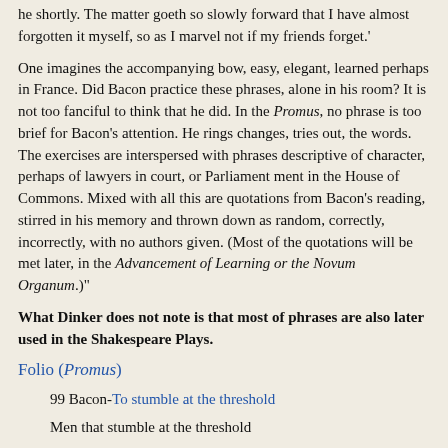he shortly. The matter goeth so slowly forward that I have almost forgotten it myself, so as I marvel not if my friends forget.'
One imagines the accompanying bow, easy, elegant, learned perhaps in France. Did Bacon practice these phrases, alone in his room? It is not too fanciful to think that he did. In the Promus, no phrase is too brief for Bacon's attention. He rings changes, tries out, the words. The exercises are interspersed with phrases descriptive of character, perhaps of lawyers in court, or Parliament ment in the House of Commons. Mixed with all this are quotations from Bacon's reading, stirred in his memory and thrown down as random, correctly, incorrectly, with no authors given. (Most of the quotations will be met later, in the Advancement of Learning or the Novum Organum.)"
What Dinker does not note is that most of phrases are also later used in the Shakespeare Plays.
Folio (Promus)
99 Bacon-To stumble at the threshold
Men that stumble at the threshold